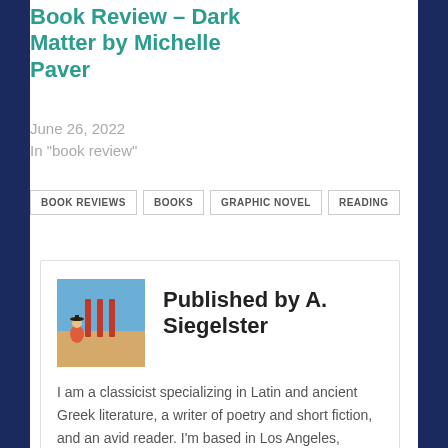Book Review – Dark Matter by Michelle Paver
June 26, 2022
In "book review"
BOOK REVIEWS
BOOKS
GRAPHIC NOVEL
READING
Published by A. Siegelster
I am a classicist specializing in Latin and ancient Greek literature, a writer of poetry and short fiction, and an avid reader. I'm based in Los Angeles, California, and am